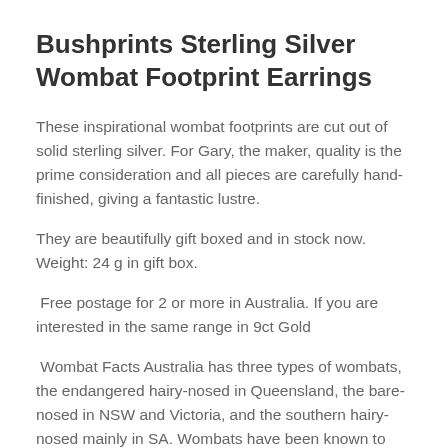Bushprints Sterling Silver Wombat Footprint Earrings
These inspirational wombat footprints are cut out of solid sterling silver. For Gary, the maker, quality is the prime consideration and all pieces are carefully hand-finished, giving a fantastic lustre.
They are beautifully gift boxed and in stock now. Weight: 24 g in gift box.
Free postage for 2 or more in Australia. If you are interested in the same range in 9ct Gold
Wombat Facts Australia has three types of wombats, the endangered hairy-nosed in Queensland, the bare-nosed in NSW and Victoria, and the southern hairy-nosed mainly in SA. Wombats have been known to run at 40 km an hour over short distances. Wombat teeth grow all the time, wearing